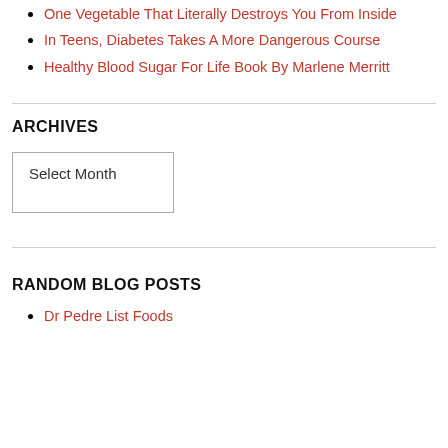One Vegetable That Literally Destroys You From Inside
In Teens, Diabetes Takes A More Dangerous Course
Healthy Blood Sugar For Life Book By Marlene Merritt
ARCHIVES
Select Month
RANDOM BLOG POSTS
Dr Pedre List Foods